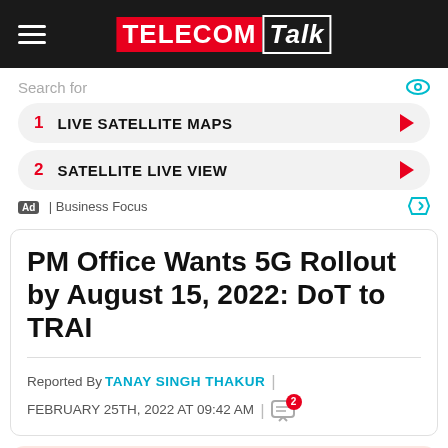TELECOMTALK
[Figure (infographic): Advertisement section with search bar showing 'Search for', two ad items: 1. LIVE SATELLITE MAPS, 2. SATELLITE LIVE VIEW, with Business Focus label]
PM Office Wants 5G Rollout by August 15, 2022: DoT to TRAI
Reported By TANAY SINGH THAKUR | FEBRUARY 25TH, 2022 AT 09:42 AM | [2 comments]
Due to LTE coming and the role of CDMA